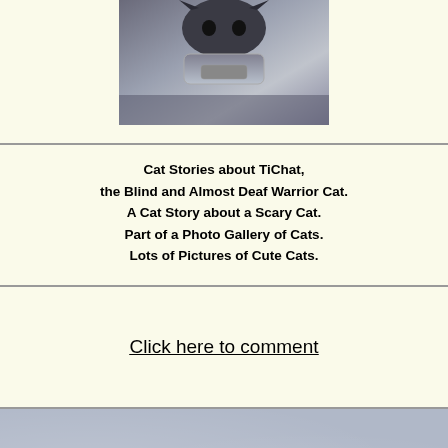[Figure (photo): Close-up photo of a cat (TiChat), appears dark/shadowed with a metallic collar or device visible]
Cat Stories about TiChat,
the Blind and Almost Deaf Warrior Cat.
A Cat Story about a Scary Cat.
Part of a Photo Gallery of Cats.
Lots of Pictures of Cute Cats.
Click here to comment
site design, site